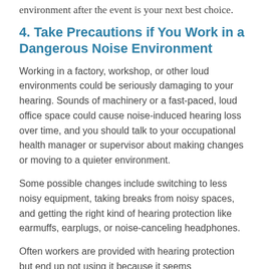environment after the event is your next best choice.
4. Take Precautions if You Work in a Dangerous Noise Environment
Working in a factory, workshop, or other loud environments could be seriously damaging to your hearing. Sounds of machinery or a fast-paced, loud office space could cause noise-induced hearing loss over time, and you should talk to your occupational health manager or supervisor about making changes or moving to a quieter environment.
Some possible changes include switching to less noisy equipment, taking breaks from noisy spaces, and getting the right kind of hearing protection like earmuffs, earplugs, or noise-canceling headphones.
Often workers are provided with hearing protection but end up not using it because it seems unnecessary. If your workplace has any equipment to preserve your hearing,